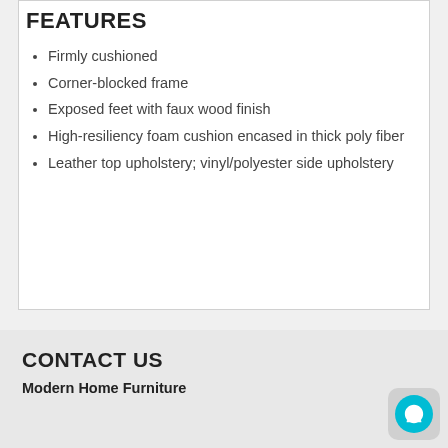FEATURES
Firmly cushioned
Corner-blocked frame
Exposed feet with faux wood finish
High-resiliency foam cushion encased in thick poly fiber
Leather top upholstery; vinyl/polyester side upholstery
CONTACT US
Modern Home Furniture